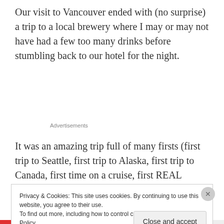Our visit to Vancouver ended with (no surprise) a trip to a local brewery where I may or may not have had a few too many drinks before stumbling back to our hotel for the night.
Advertisements
It was an amazing trip full of many firsts (first trip to Seattle, first trip to Alaska, first trip to Canada, first time on a cruise, first REAL vacation together...), and we were
Privacy & Cookies: This site uses cookies. By continuing to use this website, you agree to their use.
To find out more, including how to control cookies, see here: Cookie Policy
Close and accept